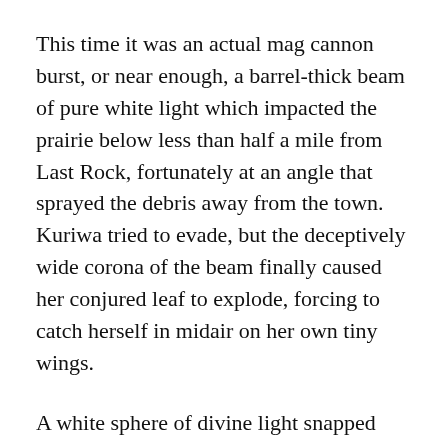This time it was an actual mag cannon burst, or near enough, a barrel-thick beam of pure white light which impacted the prairie below less than half a mile from Last Rock, fortunately at an angle that sprayed the debris away from the town. Kuriwa tried to evade, but the deceptively wide corona of the beam finally caused her conjured leaf to explode, forcing to catch herself in midair on her own tiny wings.
A white sphere of divine light snapped into place around her, dragging the squawking and struggling bird forward until it rested right in Tellwyrn's hand.
The tiny shield only collapsed when her fingers closed, clamping around the crow's neck. Arachne held it up, glaring into Kuriwa's beady little eyes from inches apart.
“I am done with you and your shit, Kuriwa,” she stated. “Stay away from my mountain. I don’t want to see you again”